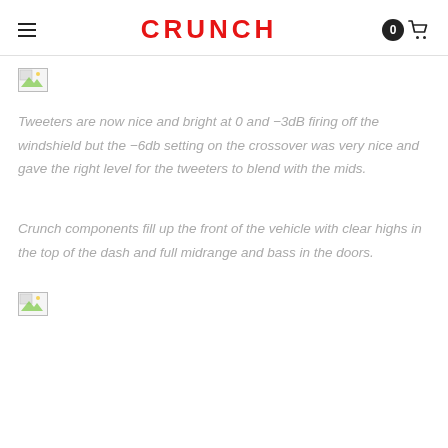CRUNCH
[Figure (photo): Broken/missing image placeholder (small icon)]
Tweeters are now nice and bright at 0 and −3dB firing off the windshield but the −6db setting on the crossover was very nice and gave the right level for the tweeters to blend with the mids.
Crunch components fill up the front of the vehicle with clear highs in the top of the dash and full midrange and bass in the doors.
[Figure (photo): Broken/missing image placeholder (small icon)]